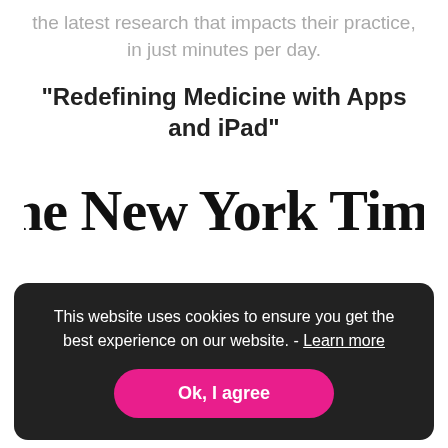the latest research that impacts their practice, in just minutes per day.
“Redefining Medicine with Apps and iPad”
[Figure (logo): The New York Times logo in blackletter/Old English serif typeface]
This website uses cookies to ensure you get the best experience on our website. - Learn more
Ok, I agree